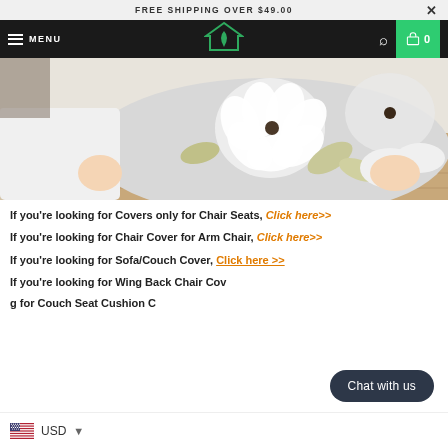FREE SHIPPING OVER $49.00
MENU
[Figure (photo): Person in white shirt fitting/installing a floral chair cover with white and grey large flower pattern onto a chair seat]
If you're looking for Covers only for Chair Seats, Click here>>
If you're looking for Chair Cover for Arm Chair, Click here>>
If you're looking for Sofa/Couch Cover, Click here >>
If you're looking for Wing Back Chair Cov...
...g for Couch Seat Cushion C...